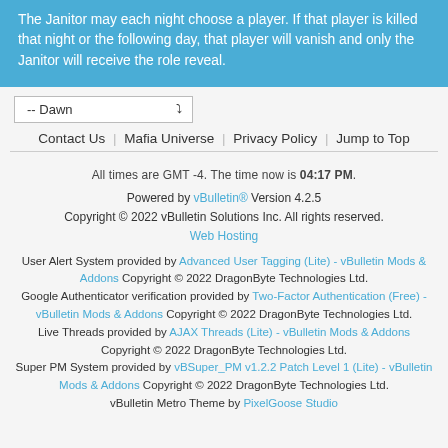The Janitor may each night choose a player. If that player is killed that night or the following day, that player will vanish and only the Janitor will receive the role reveal.
-- Dawn
Contact Us | Mafia Universe | Privacy Policy | Jump to Top
All times are GMT -4. The time now is 04:17 PM.
Powered by vBulletin® Version 4.2.5
Copyright © 2022 vBulletin Solutions Inc. All rights reserved.
Web Hosting
User Alert System provided by Advanced User Tagging (Lite) - vBulletin Mods & Addons Copyright © 2022 DragonByte Technologies Ltd. Google Authenticator verification provided by Two-Factor Authentication (Free) - vBulletin Mods & Addons Copyright © 2022 DragonByte Technologies Ltd. Live Threads provided by AJAX Threads (Lite) - vBulletin Mods & Addons Copyright © 2022 DragonByte Technologies Ltd. Super PM System provided by vBSuper_PM v1.2.2 Patch Level 1 (Lite) - vBulletin Mods & Addons Copyright © 2022 DragonByte Technologies Ltd. vBulletin Metro Theme by PixelGoose Studio